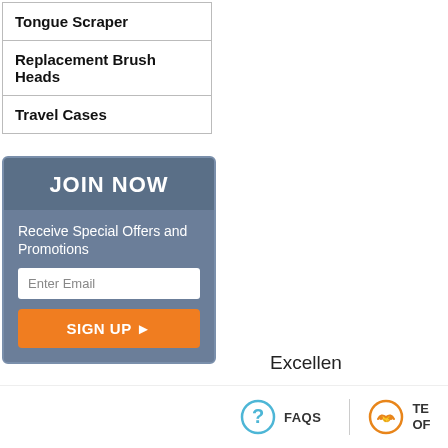| Tongue Scraper |
| Replacement Brush Heads |
| Travel Cases |
[Figure (other): JOIN NOW email signup box with orange SIGN UP button]
Excellent
All logos display
Discla
[Figure (other): FAQS icon - blue circle with question mark]
[Figure (other): TERMS OF icon - orange circle with handshake]